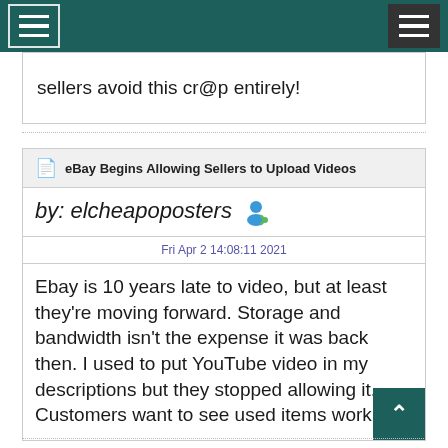[Navigation bar with menu icons]
sellers avoid this cr@p entirely!
eBay Begins Allowing Sellers to Upload Videos
by: elcheapoposters
Fri Apr 2 14:08:11 2021
Ebay is 10 years late to video, but at least they're moving forward. Storage and bandwidth isn't the expense it was back then. I used to put YouTube video in my descriptions but they stopped allowing it. Customers want to see used items working.